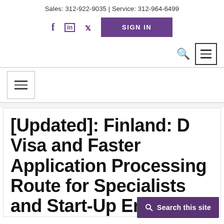Sales: 312-922-9035 | Service: 312-964-6499
[Figure (screenshot): Social media icons (Facebook, LinkedIn, Twitter) and a purple SIGN IN button]
[Figure (screenshot): Navigation row with search icon and hamburger menu icon (bordered)]
[Figure (screenshot): Left-aligned hamburger menu icon in a bordered box]
[Updated]: Finland: D Visa and Faster Application Processing Route for Specialists and Start-Up Entrepreneurs
[Figure (screenshot): Search this site overlay button at bottom right]